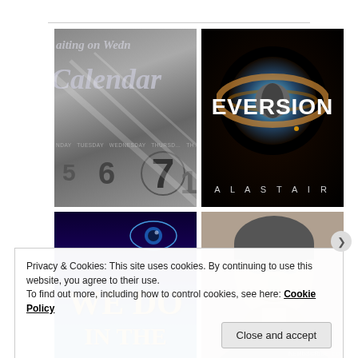[Figure (photo): Close-up of a calendar page showing the word 'Calendar' in stylized text, with days of the week and numbers 5, 6, 7 visible, number 7 circled]
[Figure (photo): Book cover for 'EVERSION' by Alastair — dark background with a glowing orb/nebula eye image, white bold title text, author name in spaced caps at bottom]
[Figure (photo): Book cover bottom half showing 'WE DO IN THE' in gold serif text on a dark blue background with a glowing eye visible in upper right]
[Figure (photo): Black and white portrait of a man in contemplative pose with hand near chin, sepia/monochrome tones]
Privacy & Cookies: This site uses cookies. By continuing to use this website, you agree to their use.
To find out more, including how to control cookies, see here: Cookie Policy
Close and accept